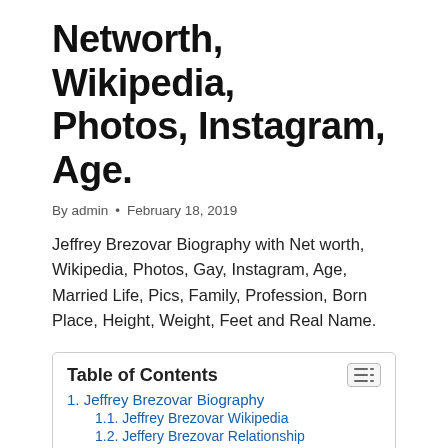Networth, Wikipedia, Photos, Instagram, Age.
By admin • February 18, 2019
Jeffrey Brezovar Biography with Net worth, Wikipedia, Photos, Gay, Instagram, Age, Married Life, Pics, Family, Profession, Born Place, Height, Weight, Feet and Real Name.
Table of Contents
1. Jeffrey Brezovar Biography
1.1. Jeffrey Brezovar Wikipedia
1.2. Jeffery Brezovar Relationship
1.3. jeffrey Brezovar wiki